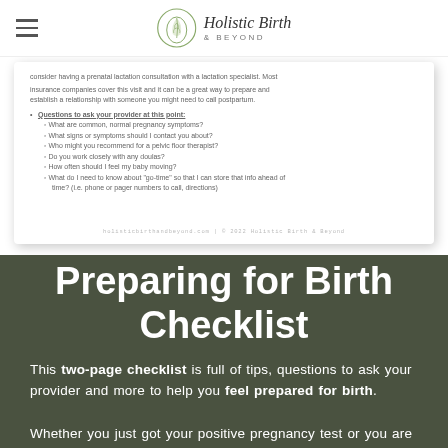Holistic Birth & Beyond
[Figure (screenshot): Preview of a checklist document page showing bullet points about pregnancy questions to ask provider, with footer text holisticbirthandbeyond.com | © 2022 Holistic Birth & Beyond]
Preparing for Birth Checklist
This two-page checklist is full of tips, questions to ask your provider and more to help you feel prepared for birth.
Whether you just got your positive pregnancy test or you are in your third trimester, this free